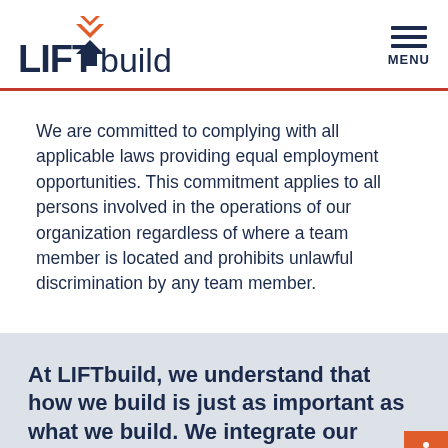[Figure (logo): LIFTbuild logo with orange chevron arrows above a dark navy arrow pointing up, text reads LIFT in bold dark navy and build in lighter weight]
We are committed to complying with all applicable laws providing equal employment opportunities. This commitment applies to all persons involved in the operations of our organization regardless of where a team member is located and prohibits unlawful discrimination by any team member.
At LIFTbuild, we understand that how we build is just as important as what we build. We integrate our commitment to